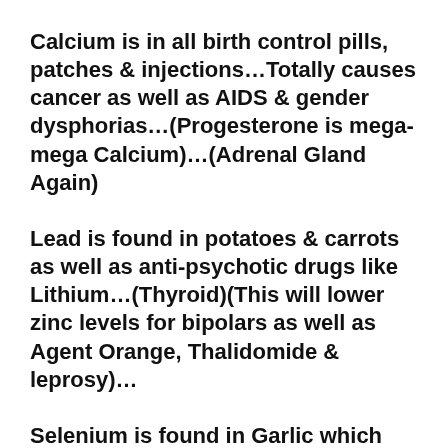Calcium is in all birth control pills, patches & injections…Totally causes cancer as well as AIDS & gender dysphorias…(Progesterone is mega-mega Calcium)…(Adrenal Gland Again)
Lead is found in potatoes & carrots as well as anti-psychotic drugs like Lithium…(Thyroid)(This will lower zinc levels for bipolars as well as Agent Orange, Thalidomide & leprosy)…
Selenium is found in Garlic which lowers blood sugar…Antibiotics are just like garlic…
The Common Cold is a wet hydrogen soaked liver, as is Chronic Fatigue Syndrome…Treat